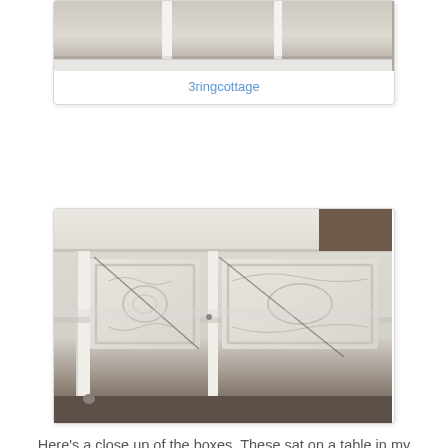[Figure (photo): Partial view of a white painted table or shelf with table legs visible against a light background]
3ringcottage
[Figure (photo): Close up photo of white painted wooden boxes/shelving unit with glass shelves, ornate decorative panels visible, sitting on a dark wood floor]
Here's a close up of the boxes.  These sat on a table in my parents' house for as long as I can remember.  I knew what was in the bottom one but I don't recall ever looking in the top one....until now!